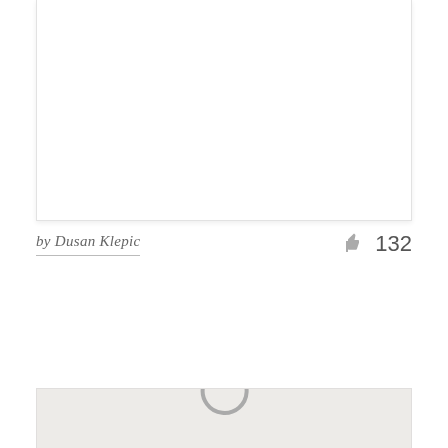[Figure (screenshot): Top portion of a white card/panel, partially visible, appearing to show content that is cut off at the top of the viewport. Light gray border and subtle shadow.]
by Dusan Klepic
[Figure (other): Thumbs up / like icon in gray]
132
[Figure (screenshot): A loading spinner (partial circle arc in gray) centered in a large light gray rectangular card area that extends to the bottom of the page.]